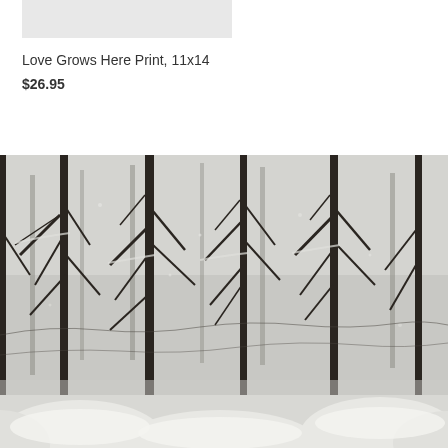[Figure (photo): Small thumbnail placeholder image with light gray background, partially visible at top]
Love Grows Here Print, 11x14
$26.95
[Figure (photo): Black and white photograph of snow-covered bare trees in a winter forest scene, with snow-capped rounded bushes or shrubs visible at the bottom of the image]